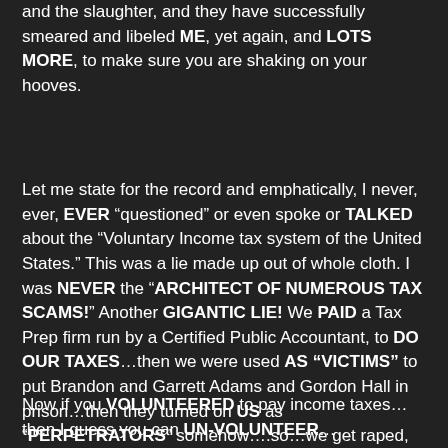and the slaughter, and they have successfully smeared and libeled ME, yet again, and LOTS MORE, to make sure you are shaking on your hooves.
Let me state for the record and emphatically, I never, ever, EVER “questioned” or even spoke or TALKED about the “Voluntary Income tax system of the United States.” This was a lie made up out of whole cloth. I was NEVER the “ARCHITECT OF NUMEROUS TAX SCAMS!” Another GIGANTIC LIE! We PAID a Tax Prep firm run by a Certified Public Accountant, to DO OUR TAXES…then we were used AS “VICTIMS” to put Brandon and Garrett Adams and Gordon Hall in prison…then they turned on US as “PERPETRATORS” somehow….so…we get raped, then they come after US for, uhhh, raping…OURSELVES? What the WHAT?
Now if you VOLUNTEERED to pay income taxes…then I guess you can UN-VOLUNTEER…